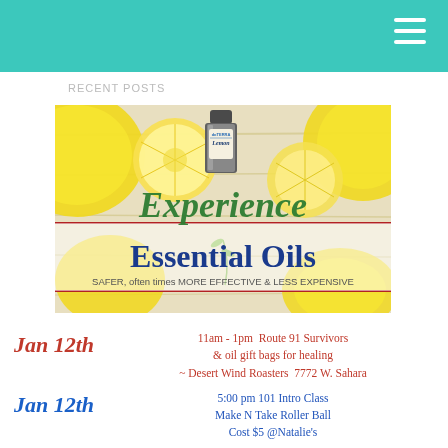[Figure (photo): Hero image showing lemons and a doTERRA Lemon essential oil bottle with text 'Experience Essential Oils — SAFER, often times MORE EFFECTIVE & LESS EXPENSIVE']
Jan 12th   11am - 1pm  Route 91 Survivors & oil gift bags for healing ~ Desert Wind Roasters  7772 W. Sahara
Jan 12th   5:00 pm 101 Intro Class Make N Take Roller Ball Cost $5 @Natalie's
Jan 13th